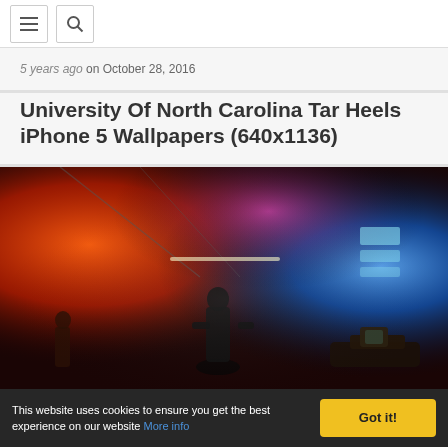Navigation bar with menu and search icons
5 years ago on October 28, 2016
University Of North Carolina Tar Heels iPhone 5 Wallpapers (640x1136)
[Figure (photo): First-person shooter video game screenshot showing a dark corridor with red and blue dramatic lighting. A soldier silhouette is visible in the center, and a weapon is shown in the foreground bottom-right. The environment has neon lights and smoky atmospheric effects.]
This website uses cookies to ensure you get the best experience on our website More info Got it!